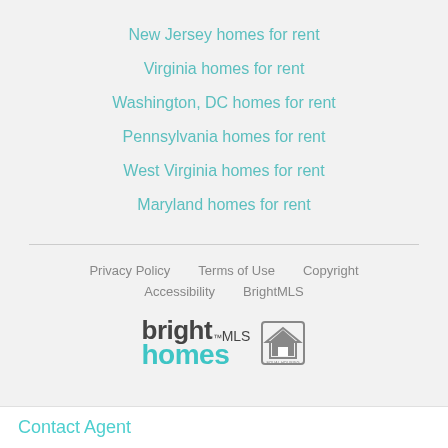New Jersey homes for rent
Virginia homes for rent
Washington, DC homes for rent
Pennsylvania homes for rent
West Virginia homes for rent
Maryland homes for rent
Privacy Policy   Terms of Use   Copyright   Accessibility   BrightMLS
[Figure (logo): BrightMLS Homes logo with equal housing opportunity icon]
Contact Agent